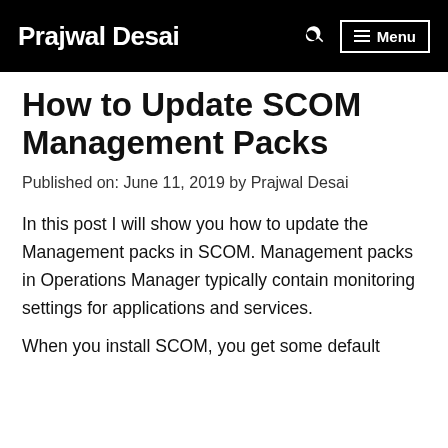Prajwal Desai | Menu
How to Update SCOM Management Packs
Published on: June 11, 2019 by Prajwal Desai
In this post I will show you how to update the Management packs in SCOM. Management packs in Operations Manager typically contain monitoring settings for applications and services.
When you install SCOM, you get some default